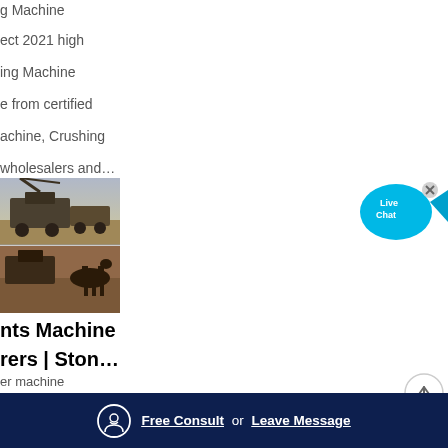g Machine
ect 2021 high
ing Machine
e from certified
achine, Crushing
wholesalers and…
[Figure (photo): Two stacked photos of industrial stone crushing/mining machinery outdoors on dirt terrain]
[Figure (infographic): Live Chat speech bubble icon in cyan/blue color with X close button]
nts Machine
rers | Ston…
er machine
re stone crusher
su
cru
[Figure (infographic): Scroll-to-top circular button with upward arrow]
Free Consult or Leave Message